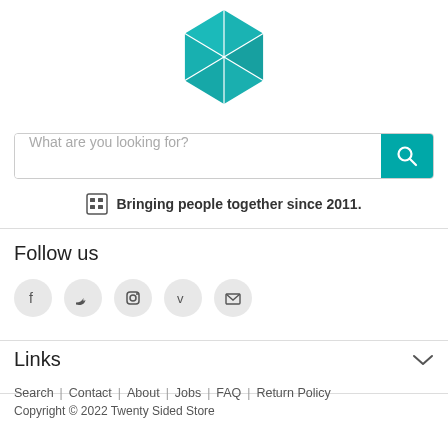[Figure (logo): Teal icosahedron geometric logo for Twenty Sided Store]
[Figure (other): Search bar with placeholder 'What are you looking for?' and teal search button]
Bringing people together since 2011.
Follow us
[Figure (other): Social media icons: Facebook, Twitter, Instagram, Vimeo, Email]
Links
Search | Contact | About | Jobs | FAQ | Return Policy
Copyright © 2022 Twenty Sided Store